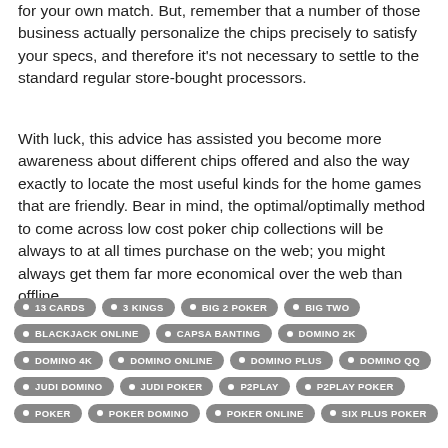for your own match. But, remember that a number of those business actually personalize the chips precisely to satisfy your specs, and therefore it's not necessary to settle to the standard regular store-bought processors.
With luck, this advice has assisted you become more awareness about different chips offered and also the way exactly to locate the most useful kinds for the home games that are friendly. Bear in mind, the optimal/optimally method to come across low cost poker chip collections will be always to at all times purchase on the web; you might always get them far more economical over the web than offline.
13 CARDS
3 KINGS
BIG 2 POKER
BIG TWO
BLACKJACK ONLINE
CAPSA BANTING
DOMINO 2K
DOMINO 4K
DOMINO ONLINE
DOMINO PLUS
DOMINO QQ
JUDI DOMINO
JUDI POKER
P2PLAY
P2PLAY POKER
POKER
POKER DOMINO
POKER ONLINE
SIX PLUS POKER